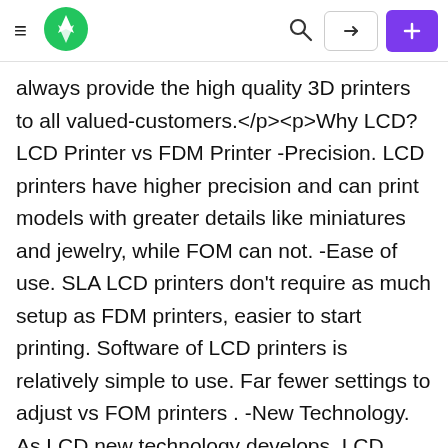≡ [logo] [search] [login] [+]
always provide the high quality 3D printers to all valued-customers.</p><p>Why LCD? LCD Printer vs FDM Printer -Precision. LCD printers have higher precision and can print models with greater details like miniatures and jewelry, while FOM can not. -Ease of use. SLA LCD printers don't require as much setup as FDM printers, easier to start printing. Software of LCD printers is relatively simple to use. Far fewer settings to adjust vs FOM printers . -New Technology. As LCD new technology develops, LCD printers become more popular. So, why not Orange 10 3D printer? It is fun!</p><p>Uniform UV Light Design upgraded UV-LED Module, provide special optical path design, uniform distribution of energy, both contribute to enhance prototype precision, you can